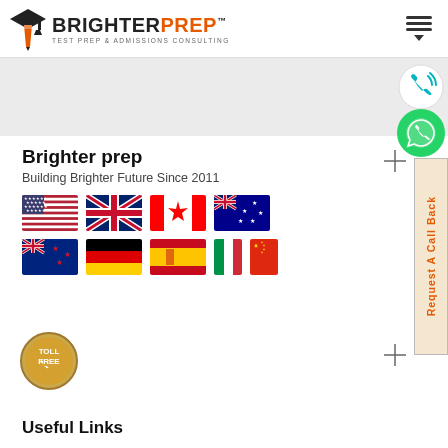BrighterPrep - Test Prep & Admissions Consulting
[Figure (logo): BrighterPrep logo with graduation cap and pen icon, text BRIGHTERPREP in black and orange, tagline TEST PREP & ADMISSIONS CONSULTING]
[Figure (illustration): Hamburger menu icon with three horizontal lines and a downward arrow]
[Figure (illustration): Phone call icon with wifi signal waves on right side, teal/cyan color]
[Figure (illustration): WhatsApp green circle icon with white phone handset]
[Figure (illustration): Crosshair/target reticle symbol]
[Figure (illustration): Request A Call Back vertical tab on right side in orange text on beige background]
Brighter prep
Building Brighter Future Since 2011
[Figure (illustration): Row of four country flags: USA, UK, Canada, Australia]
[Figure (illustration): Row of five country flags: New Zealand, Germany, Spain, Italy, China]
[Figure (illustration): Toll Free badge circular icon]
Useful Links